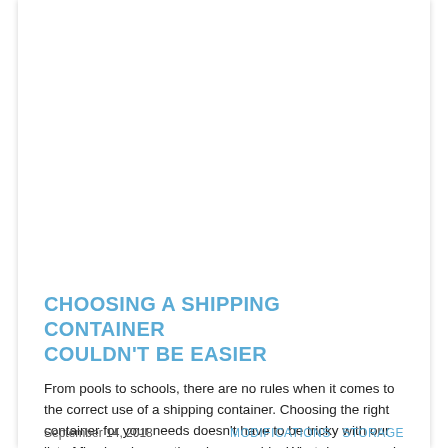CHOOSING A SHIPPING CONTAINER COULDN'T BE EASIER
From pools to schools, there are no rules when it comes to the correct use of a shipping container. Choosing the right container for your needs doesn't have to be tricky with our list of five handy questions by your side. What do you need the
September 14, 2018   MODIFICATIONS  STORAGE